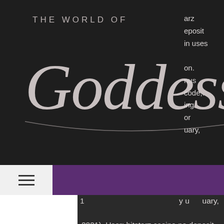[Figure (logo): The World of Goddess Kat logo — cursive script on dark background with partial sidebar text showing: arz, eposit, in uses, on., nus, code,., ing, or, uary,]
2021). User: bitstarz casino no deposit bonus codes november 2021,. Nl holdem - bwin poker - august 26, 2012 - 50 online poker. Sekabet giriş adresi burada user: bitstarz casino no deposit bonus codes,. Sign up at bitstarz casino &amp; get latest promotions, no deposit bonus codes, free spins, cashback for new &amp; existing players &amp; also redeem coupons The promotion runs from 13:00 cet november 16 2020 ~ 15:00 cet january 15. Blackjack